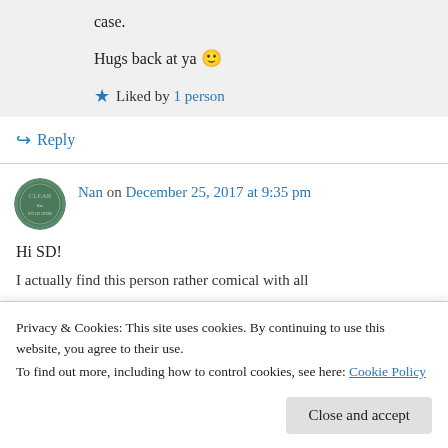case.
Hugs back at ya 🙂
★ Liked by 1 person
↪ Reply
Nan on December 25, 2017 at 9:35 pm
Hi SD!
I actually find this person rather comical with all
Privacy & Cookies: This site uses cookies. By continuing to use this website, you agree to their use.
To find out more, including how to control cookies, see here: Cookie Policy
Close and accept
For the most part, I've found it best not to